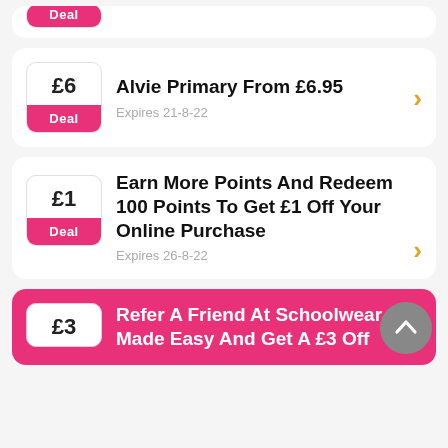[Figure (other): Partial top card, cropped, showing pink label at top]
£6
Deal
Alvie Primary From £6.95
Expires 21-8-22
£1
Deal
Earn More Points And Redeem 100 Points To Get £1 Off Your Online Purchase
Expires 26-8-22
£3
Refer A Friend At Schoolwear Made Easy And Get A £3 Off